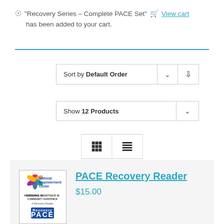"Recovery Series – Complete PACE Set" View cart has been added to your cart.
Sort by Default Order
Show 12 Products
Grid and List view toggle buttons
[Figure (other): Product listing card showing PACE Recovery Reader with National Empowerment Center book cover image on left]
PACE Recovery Reader
$15.00